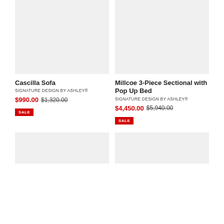[Figure (photo): Product image placeholder for Cascilla Sofa, light grey background]
[Figure (photo): Product image placeholder for Millcoe 3-Piece Sectional with Pop Up Bed, light grey background]
Cascilla Sofa
SIGNATURE DESIGN BY ASHLEY®
$990.00 $1,320.00
SALE
Millcoe 3-Piece Sectional with Pop Up Bed
SIGNATURE DESIGN BY ASHLEY®
$4,450.00 $5,940.00
SALE
[Figure (photo): Product image placeholder bottom left, light grey background]
[Figure (photo): Product image placeholder bottom right, light grey background]